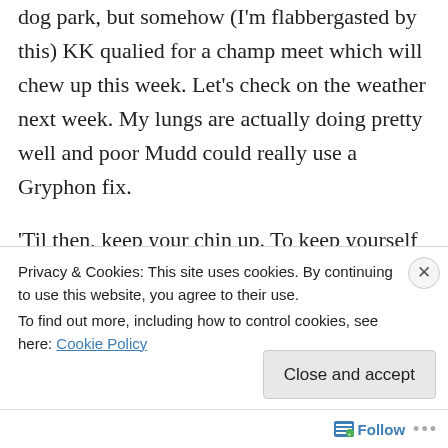dog park, but somehow (I'm flabbergasted by this) KK qualied for a champ meet which will chew up this week. Let's check on the weather next week. My lungs are actually doing pretty well and poor Mudd could really use a Gryphon fix.

'Til then, keep your chin up. To keep yourself amused read this:
http://deadspin.com/5477230/nyu-business-school-professor-has-mastered-the-art-of-email-
Privacy & Cookies: This site uses cookies. By continuing to use this website, you agree to their use.
To find out more, including how to control cookies, see here: Cookie Policy
Close and accept